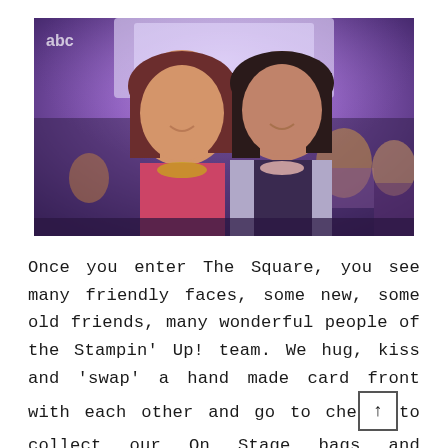[Figure (photo): Two women smiling and posing together in front of a large venue/event stage with purple lighting and an audience visible in the background. The woman on the left wears a pink/red top and a beaded necklace; the woman on the right wears a dark top with a light cardigan and a beaded necklace.]
Once you enter The Square, you see many friendly faces, some new, some old friends, many wonderful people of the Stampin' Up! team. We hug, kiss and 'swap' a hand made card front with each other and go to check in to collect our On Stage bags and goodies. From there we made our way to find a seat. The photo above shows Lisa and I stood in front of the main stage, the room wasn't